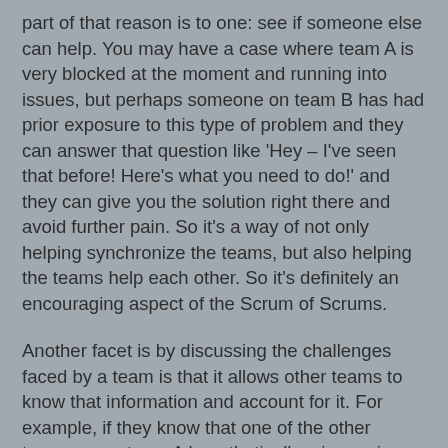part of that reason is to one: see if someone else can help. You may have a case where team A is very blocked at the moment and running into issues, but perhaps someone on team B has had prior exposure to this type of problem and they can answer that question like 'Hey – I've seen that before! Here's what you need to do!' and they can give you the solution right there and avoid further pain. So it's a way of not only helping synchronize the teams, but also helping the teams help each other. So it's definitely an encouraging aspect of the Scrum of Scrums.
Another facet is by discussing the challenges faced by a team is that it allows other teams to know that information and account for it. For example, if they know that one of the other teams – say team A hypothetically – is running into issues, then maybe one or two of those stories that have originally been targeted may or may not complete on time and they can sort of mentally put that in their list; if there's concerns or if there's dependencies where if team A starts to slip behind the schedule, then team B, which may have a dependency on team A, can then account for it. Like 'Okay, well, maybe we need to push off some of our items into a